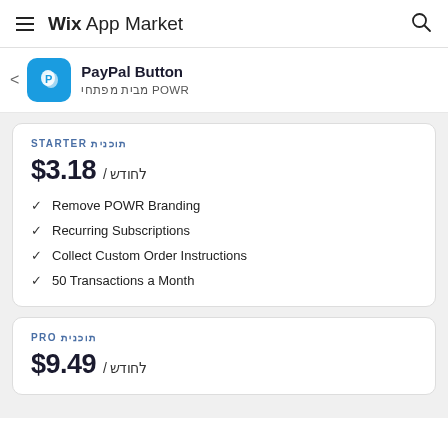Wix App Market
PayPal Button
מבית מפתחי POWR
STARTER תוכנית
$3.18 / לחודש
Remove POWR Branding
Recurring Subscriptions
Collect Custom Order Instructions
50 Transactions a Month
PRO תוכנית
$9.49 / לחודש